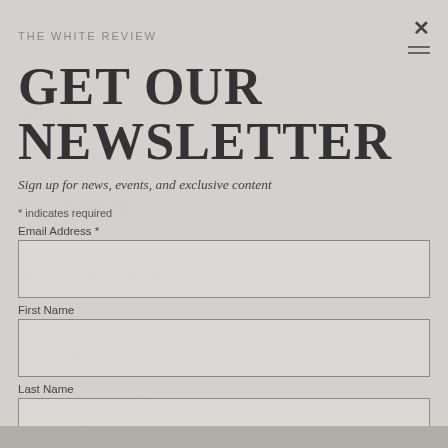THE WHITE REVIEW
GET OUR NEWSLETTER
Sign up for news, events, and exclusive content
* indicates required
Email Address *
First Name
Last Name